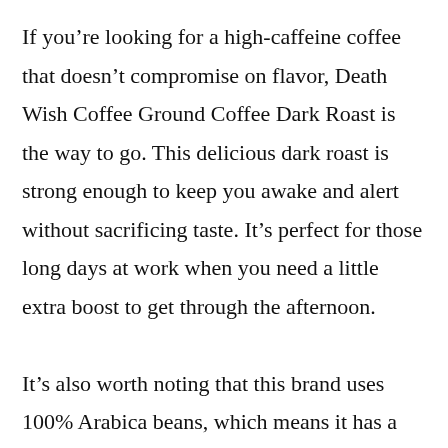If you're looking for a high-caffeine coffee that doesn't compromise on flavor, Death Wish Coffee Ground Coffee Dark Roast is the way to go. This delicious dark roast is strong enough to keep you awake and alert without sacrificing taste. It's perfect for those long days at work when you need a little extra boost to get through the afternoon.

It's also worth noting that this brand uses 100% Arabica beans, which means it has a smoother taste than many other coffees out there. This will come as good news to anyone who prefers their